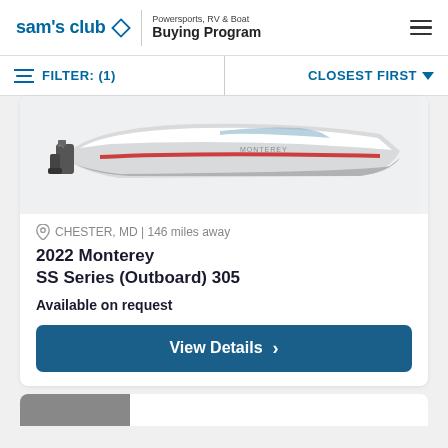sam's club ◇ | Powersports, RV & Boat Buying Program
FILTER: (1) | CLOSEST FIRST ▼
[Figure (photo): Photo of a 2022 Monterey SS Series (Outboard) 305 speedboat, white with red accent stripe, shown from the side against a light grey background.]
CHESTER, MD | 146 miles away
2022 Monterey SS Series (Outboard) 305
Available on request
View Details >